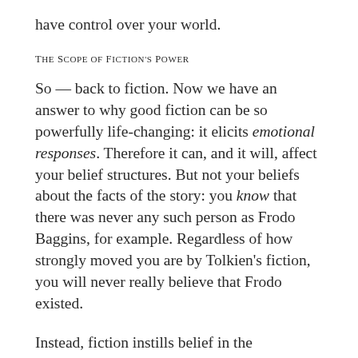have control over your world.
The Scope of Fiction's Power
So — back to fiction. Now we have an answer to why good fiction can be so powerfully life-changing: it elicits emotional responses. Therefore it can, and it will, affect your belief structures. But not your beliefs about the facts of the story: you know that there was never any such person as Frodo Baggins, for example. Regardless of how strongly moved you are by Tolkien's fiction, you will never really believe that Frodo existed.
Instead, fiction instills belief in the background assumptions of the story. The background assumptions